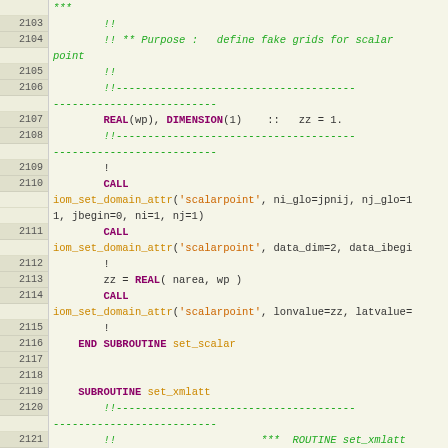[Figure (screenshot): Source code viewer showing Fortran code lines 2103-2125 with syntax highlighting. Left column shows line numbers on grey background, right column shows code with green comments, purple/bold keywords, orange identifiers on beige background.]